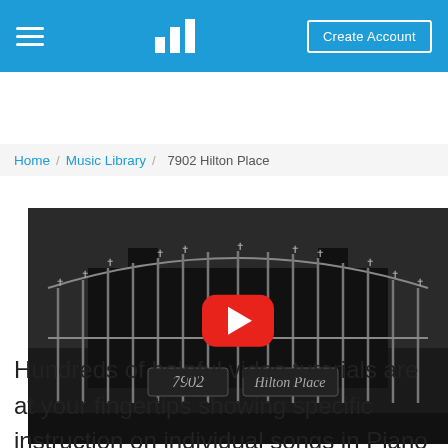Piano Marvel — Navigation bar with hamburger menu, bar chart logo, Create Account button
Home / Music Library / 7902 Hilton Place
[Figure (screenshot): Black and white video thumbnail showing ornate iron gate with '7902 Hilton Place' text on sign plates, overlaid with a red YouTube play button]
Hundreds of helpful video tutorials are at your fingertips showing specific instruction on individual songs in Piano Marvel. You can create a free account to explore all of the ways Piano Marvel will help you to learn to